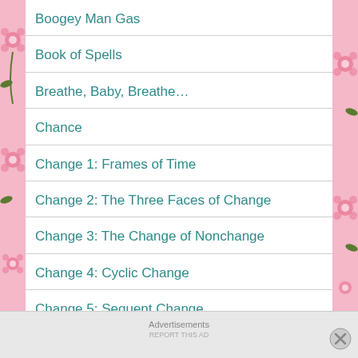Boogey Man Gas
Book of Spells
Breathe, Baby, Breathe…
Chance
Change 1: Frames of Time
Change 2: The Three Faces of Change
Change 3: The Change of Nonchange
Change 4: Cyclic Change
Change 5: Sequent Change
Advertisements